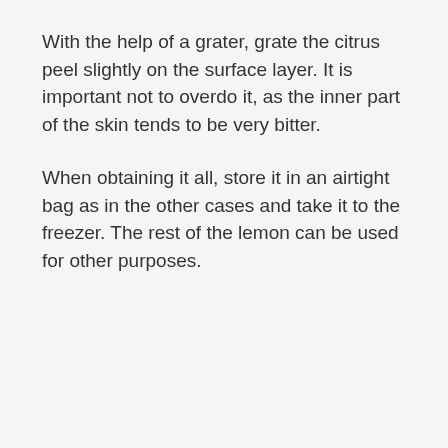With the help of a grater, grate the citrus peel slightly on the surface layer. It is important not to overdo it, as the inner part of the skin tends to be very bitter.
When obtaining it all, store it in an airtight bag as in the other cases and take it to the freezer. The rest of the lemon can be used for other purposes.